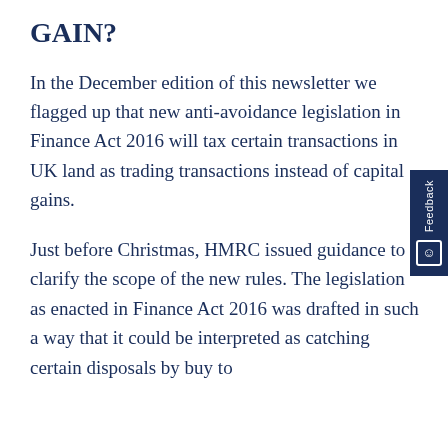GAIN?
In the December edition of this newsletter we flagged up that new anti-avoidance legislation in Finance Act 2016 will tax certain transactions in UK land as trading transactions instead of capital gains.
Just before Christmas, HMRC issued guidance to clarify the scope of the new rules. The legislation as enacted in Finance Act 2016 was drafted in such a way that it could be interpreted as catching certain disposals by buy to